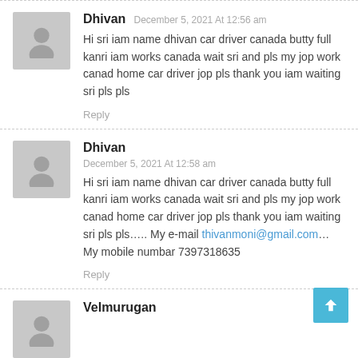Dhivan December 5, 2021 At 12:56 am
Hi sri iam name dhivan car driver canada butty full kanri iam works canada wait sri and pls my jop work canad home car driver jop pls thank you iam waiting sri pls pls
Reply
Dhivan December 5, 2021 At 12:58 am
Hi sri iam name dhivan car driver canada butty full kanri iam works canada wait sri and pls my jop work canad home car driver jop pls thank you iam waiting sri pls pls..... My e-mail thivanmoni@gmail.com… My mobile numbar 7397318635
Reply
Velmurugan